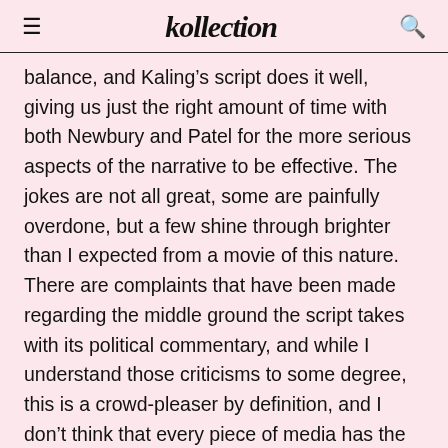kollection
balance, and Kaling’s script does it well, giving us just the right amount of time with both Newbury and Patel for the more serious aspects of the narrative to be effective. The jokes are not all great, some are painfully overdone, but a few shine through brighter than I expected from a movie of this nature. There are complaints that have been made regarding the middle ground the script takes with its political commentary, and while I understand those criticisms to some degree, this is a crowd-pleaser by definition, and I don’t think that every piece of media has the responsibility to be taking hard stances in that regard. Its light fare, and flawed, but going in with the right expectations, I believe this can be a fun 100 minutes